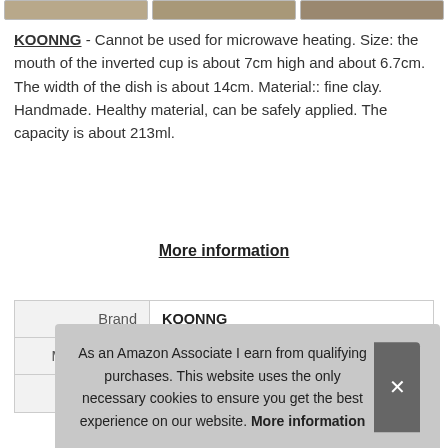[Figure (photo): Top strip showing three partially visible product images]
KOONNG - Cannot be used for microwave heating. Size: the mouth of the inverted cup is about 7cm high and about 6.7cm. The width of the dish is about 14cm. Material:: fine clay. Handmade. Healthy material, can be safely applied. The capacity is about 213ml.
More information
| Brand | KOONNG |
| Manufacturer | KOONNG |
| P |  |
As an Amazon Associate I earn from qualifying purchases. This website uses the only necessary cookies to ensure you get the best experience on our website. More information